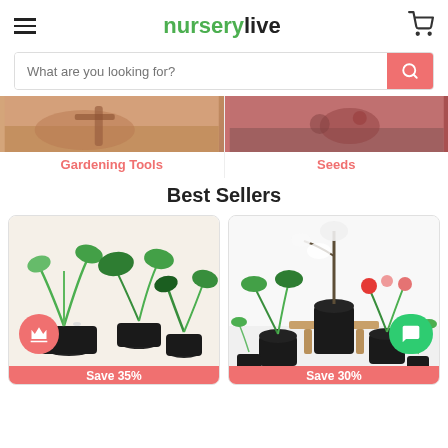nurserylive
What are you looking for?
[Figure (photo): Gardening tools category image]
Gardening Tools
[Figure (photo): Seeds category image]
Seeds
Best Sellers
[Figure (photo): Best seller product 1 - indoor plants bundle, Save 35%]
[Figure (photo): Best seller product 2 - flowering plants bundle, Save 30%]